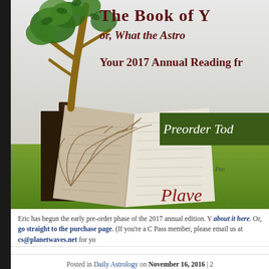[Figure (illustration): Banner image showing a book with tree roots growing from it, a bonsai tree above, on green grass background. Text overlay: 'The Book of Y', 'or, What the Astro', 'Your 2017 Annual Reading fr', 'Preorder Tod', 'Pro', 'Planet Waves' branding.]
Eric has begun the early pre-order phase of the 2017 annual edition. Y about it here. Or, go straight to the purchase page. (If you're a C Pass member, please email us at cs@planetwaves.net for yo
Posted in Daily Astrology on November 16, 2016 | 2